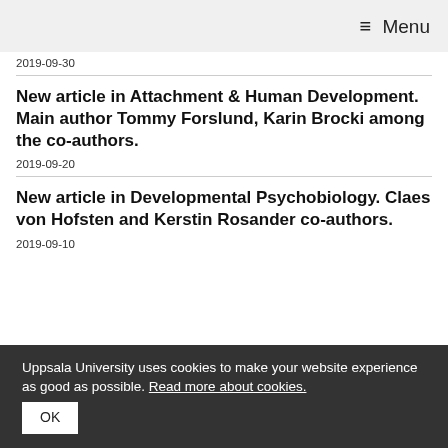≡ Menu
2019-09-30
New article in Attachment & Human Development. Main author Tommy Forslund, Karin Brocki among the co-authors.
2019-09-20
New article in Developmental Psychobiology. Claes von Hofsten and Kerstin Rosander co-authors.
2019-09-10
Uppsala University uses cookies to make your website experience as good as possible. Read more about cookies. OK